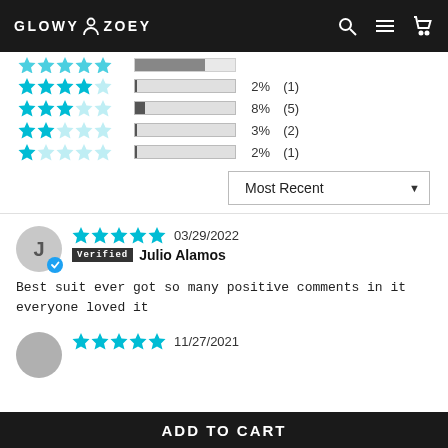GLOWY ZOEY
[Figure (infographic): Star rating distribution bars showing 4-star 2% (1), 3-star 8% (5), 2-star 3% (2), 1-star 2% (1)]
Most Recent (dropdown)
J  Verified Julio Alamos  03/29/2022  5 stars
Best suit ever got so many positive comments in it everyone loved it
11/27/2021  5 stars (second review stub)
ADD TO CART